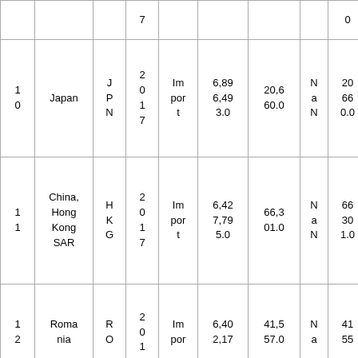|  |  | 7 |  |  |  |  | 0 |  |
| 1
0 | Japan | J
P
N | 2
0
1
7 | Im
por
t | 6,89
6,49
3.0 | 20,6
60.0 | N
a
N | 20
66
0.0 | 33
3.8
1 |
| 1
1 | China,
Hong
Kong
SAR | H
K
G | 2
0
1
7 | Im
por
t | 6,42
7,79
5.0 | 66,3
01.0 | N
a
N | 66
30
1.0 | 96.
95 |
| 1
2 | Roma
nia | R
O | 2
0
1 | Im
por | 6,40
2,17 | 41,5
57.0 | N
a | 41
55 | 15
4.0 |